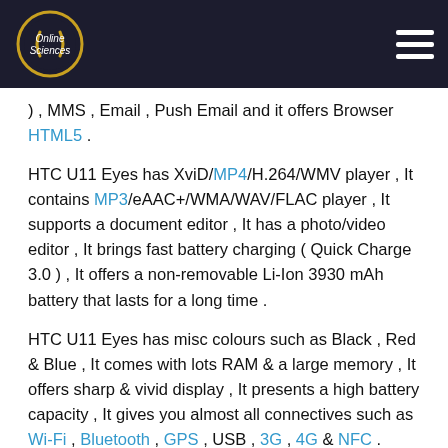[Figure (logo): Online Sciences logo in top navigation bar]
), MMS , Email , Push Email and it offers Browser HTML5 .
HTC U11 Eyes has XviD/MP4/H.264/WMV player , It contains MP3/eAAC+/WMA/WAV/FLAC player , It supports a document editor , It has a photo/video editor , It brings fast battery charging ( Quick Charge 3.0 ) , It offers a non-removable Li-Ion 3930 mAh battery that lasts for a long time .
HTC U11 Eyes has misc colours such as Black , Red & Blue , It comes with lots RAM & a large memory , It offers sharp & vivid display , It presents a high battery capacity , It gives you almost all connectives such as Wi-Fi , Bluetooth , GPS , USB , 3G , 4G & NFC .
HTC U11 Eyes disadvantages
HTC U11 Eyes has a bit heavy weight to carry , It does not have FM Radio , It does not offer Java , It does not contain a removable battery , It does not have Infrared and it does not have